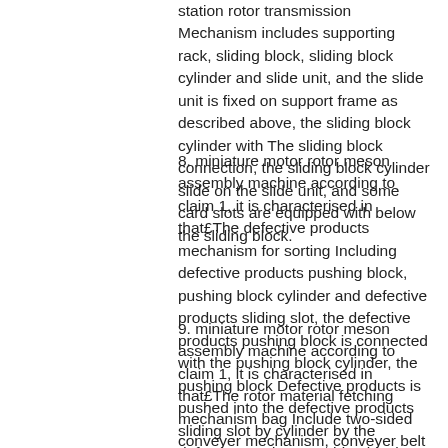station rotor transmission Mechanism includes supporting rack, sliding block, sliding block cylinder and slide unit, and the slide unit is fixed on support frame as described above, the sliding block cylinder with The sliding block connection, the sliding block cylinder slide on the slide unit, and some card slots are equipped with below the sliding block.
8. miniature motor rotor meson assembly machine according to claim 1, it is characterised in that£The defective products mechanism for sorting Including defective products pushing block, pushing block cylinder and defective products sliding slot, the defective products pushing block is connected with the pushing block cylinder, the pushing block Defective products is pushed into the defective products sliding slot by cylinder by the defective products pushing block.
9. miniature motor rotor meson assembly machine according to claim 1, it is characterised in that£The rotor material fetching mechanism bag Include two-sided conveyer mechanism, conveyer belt stepper motor, longitudinal rotor driving mechanism, discharging take rotor mechanism and discharging magnetic rotor.